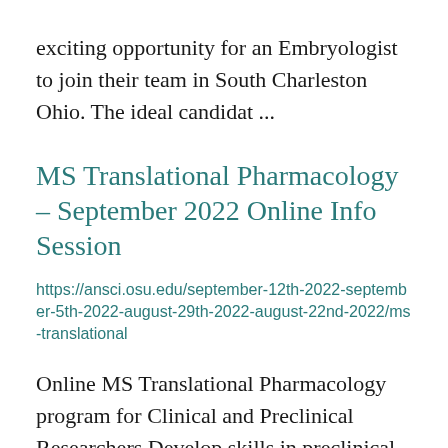exciting opportunity for an Embryologist to join their team in South Charleston Ohio. The ideal candidat ...
MS Translational Pharmacology – September 2022 Online Info Session
https://ansci.osu.edu/september-12th-2022-september-5th-2022-august-29th-2022-august-22nd-2022/ms-translational
Online MS Translational Pharmacology program for Clinical and Preclinical Researchers Develop skills in preclinical or clinical trial design, toxicology, safety, or clinical pharmacology, or advance your